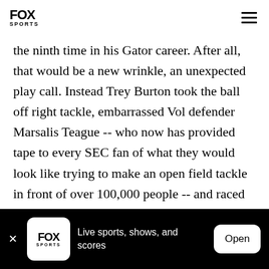FOX SPORTS
the ninth time in his Gator career. After all, that would be a new wrinkle, an unexpected play call. Instead Trey Burton took the ball off right tackle, embarrassed Vol defender Marsalis Teague -- who now has provided tape to every SEC fan of what they would look like trying to make an open field tackle in front of over 100,000 people -- and raced eighty yards for the tie score.

Asked to explain how a play like that could happen,
FOX SPORTS  Live sports, shows, and scores  Open